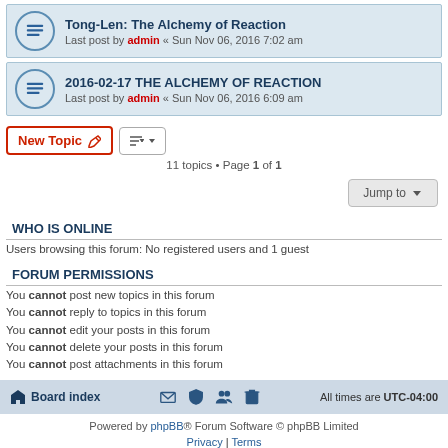Tong-Len: The Alchemy of Reaction — Last post by admin « Sun Nov 06, 2016 7:02 am
2016-02-17 THE ALCHEMY OF REACTION — Last post by admin « Sun Nov 06, 2016 6:09 am
11 topics • Page 1 of 1
WHO IS ONLINE
Users browsing this forum: No registered users and 1 guest
FORUM PERMISSIONS
You cannot post new topics in this forum
You cannot reply to topics in this forum
You cannot edit your posts in this forum
You cannot delete your posts in this forum
You cannot post attachments in this forum
Board index | All times are UTC-04:00
Powered by phpBB® Forum Software © phpBB Limited | Privacy | Terms